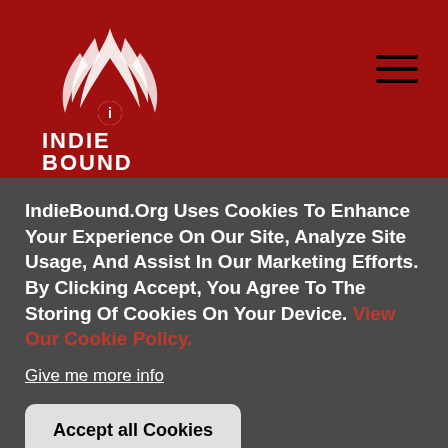[Figure (logo): IndieBound logo with stylized hand/wheat graphic in white on red background, with INDIE BOUND text below]
baseball, pro football, college football, pro and college basketball, hockey, or soccer, we have a book about your sport or your team.
Whether you are a New York Yankees fan or hail from Red Sox nation; whether you are a die-hard Green
IndieBound.Org Uses Cookies To Enhance Your Experience On Our Site, Analyze Site Usage, And Assist In Our Marketing Efforts. By Clicking Accept, You Agree To The Storing Of Cookies On Your Device. View Our Cookie Policy.
Give me more info
Accept all Cookies